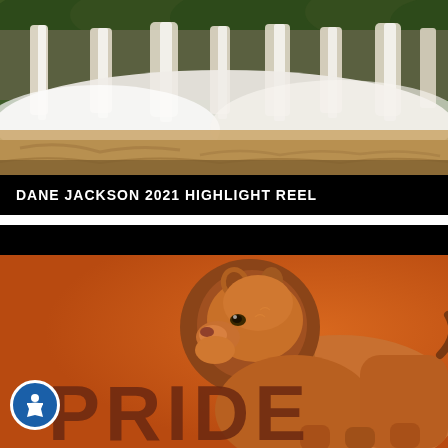[Figure (photo): Waterfall photo with rushing white water and brown churning water below, green vegetation at top]
DANE JACKSON 2021 HIGHLIGHT REEL
[Figure (photo): Lion in profile view against an orange/burnt orange background, with the word PRIDE in large dark brown letters at the bottom, and an accessibility icon (person in circle) at the lower left]